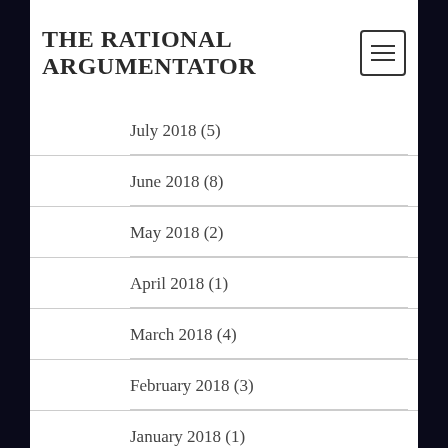THE RATIONAL ARGUMENTATOR
July 2018 (5)
June 2018 (8)
May 2018 (2)
April 2018 (1)
March 2018 (4)
February 2018 (3)
January 2018 (1)
December 2017 (3)
November 2017 (6)
October 2017 (12)
September 2017 (4)